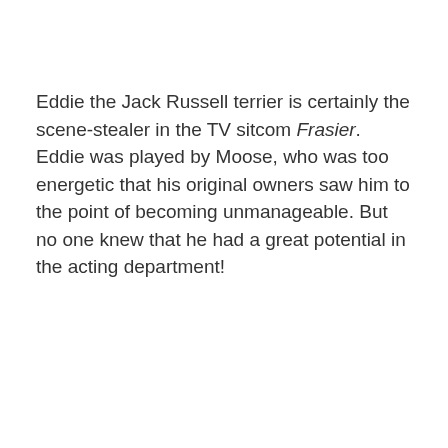Eddie the Jack Russell terrier is certainly the scene-stealer in the TV sitcom Frasier. Eddie was played by Moose, who was too energetic that his original owners saw him to the point of becoming unmanageable. But no one knew that he had a great potential in the acting department!